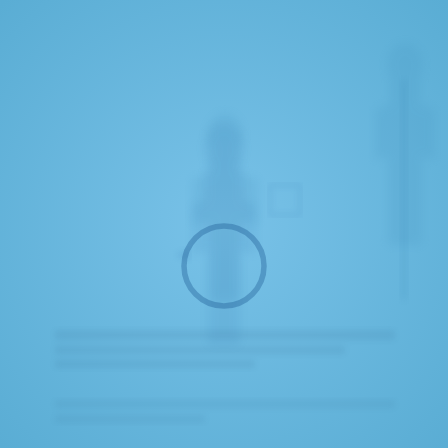[Figure (photo): A light blue background image showing faint, low-contrast ghosted figures or objects — including what appears to be a faint circular ring shape in the center, and very faint text or watermark elements along the lower portion. The entire image is rendered in muted sky blue tones with slight variations suggesting embedded semi-transparent content.]